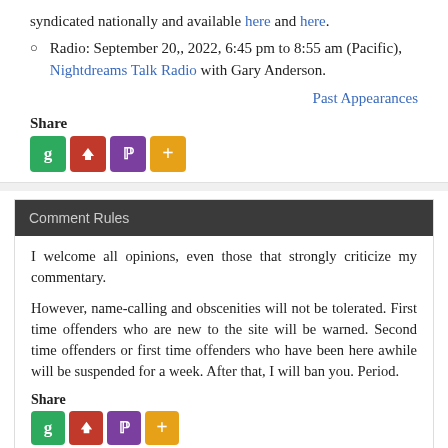syndicated nationally and available here and here.
Radio: September 20,, 2022, 6:45 pm to 8:55 am (Pacific), Nightdreams Talk Radio with Gary Anderson.
Past Appearances
Share
[Figure (infographic): Four social share buttons: green g, red up-arrow, purple P, orange plus]
Comment Rules
I welcome all opinions, even those that strongly criticize my commentary.
However, name-calling and obscenities will not be tolerated. First time offenders who are new to the site will be warned. Second time offenders or first time offenders who have been here awhile will be suspended for a week. After that, I will ban you. Period.
Share
[Figure (infographic): Four social share buttons: green g, red up-arrow, purple P, orange plus]